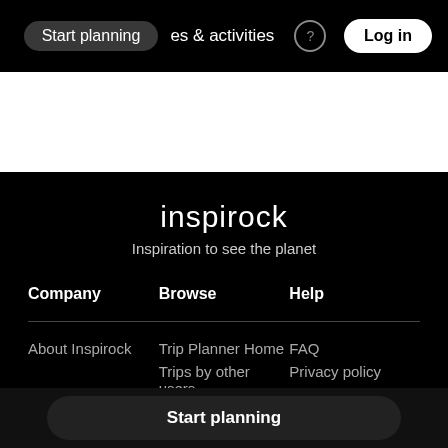Start planning  es & activities  Log in
inspirock
Inspiration to see the planet
Company
Browse
Help
About Inspirock
Trip Planner Home
FAQ
Trips by other users
Privacy policy
Start planning